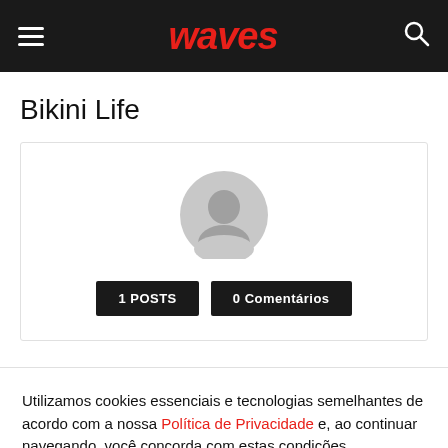waves
Bikini Life
[Figure (illustration): Gray default user avatar (head and shoulders silhouette) with two dark buttons below: '1 POSTS' and '0 Comentários']
Utilizamos cookies essenciais e tecnologias semelhantes de acordo com a nossa Política de Privacidade e, ao continuar navegando, você concorda com estas condições.
ACEITAR